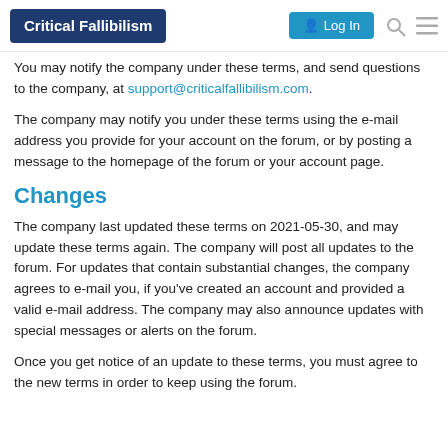Critical Fallibilism | Log In
You may notify the company under these terms, and send questions to the company, at support@criticalfallibilism.com.
The company may notify you under these terms using the e-mail address you provide for your account on the forum, or by posting a message to the homepage of the forum or your account page.
Changes
The company last updated these terms on 2021-05-30, and may update these terms again. The company will post all updates to the forum. For updates that contain substantial changes, the company agrees to e-mail you, if you've created an account and provided a valid e-mail address. The company may also announce updates with special messages or alerts on the forum.
Once you get notice of an update to these terms, you must agree to the new terms in order to keep using the forum.